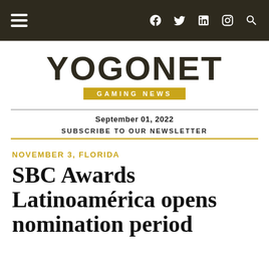Navigation bar with hamburger menu, Facebook, Twitter, LinkedIn, Instagram, and Search icons
YOGONET GAMING NEWS
September 01, 2022
SUBSCRIBE TO OUR NEWSLETTER
NOVEMBER 3, FLORIDA
SBC Awards Latinoamérica opens nomination period